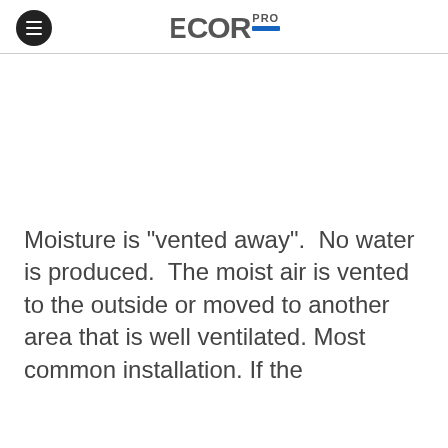ECOR PRO
Moisture is "vented away".  No water is produced.  The moist air is vented to the outside or moved to another area that is well ventilated.  Most common installation. If the